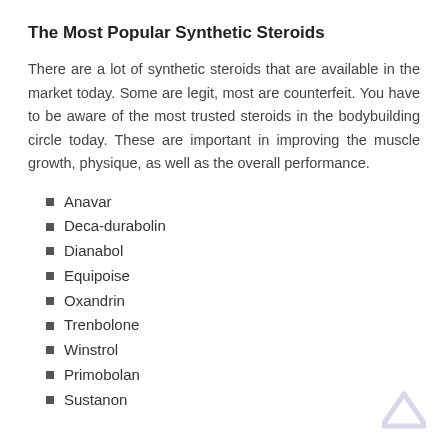The Most Popular Synthetic Steroids
There are a lot of synthetic steroids that are available in the market today. Some are legit, most are counterfeit. You have to be aware of the most trusted steroids in the bodybuilding circle today. These are important in improving the muscle growth, physique, as well as the overall performance.
Anavar
Deca-durabolin
Dianabol
Equipoise
Oxandrin
Trenbolone
Winstrol
Primobolan
Sustanon